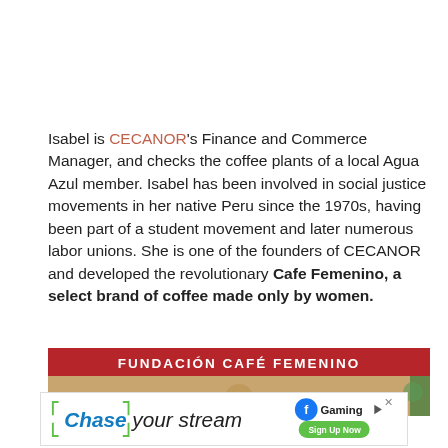Isabel is CECANOR's Finance and Commerce Manager, and checks the coffee plants of a local Agua Azul member. Isabel has been involved in social justice movements in her native Peru since the 1970s, having been part of a student movement and later numerous labor unions. She is one of the founders of CECANOR and developed the revolutionary Cafe Femenino, a select brand of coffee made only by women.
[Figure (photo): Photo showing a red banner reading FUNDACIÓN CAFÉ FEMENINO with a coffee-colored background below it.]
[Figure (screenshot): Advertisement: Chase your stream with Facebook Gaming - Sign Up Now button]